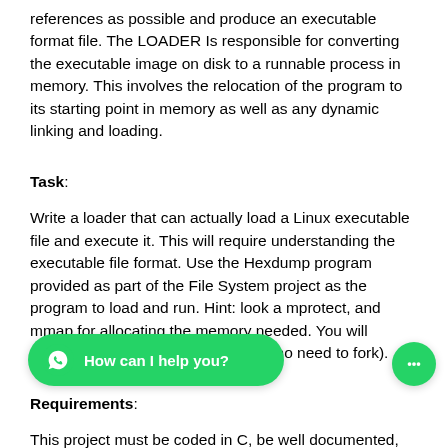references as possible and produce an executable format file. The LOADER Is responsible for converting the executable image on disk to a runnable process in memory. This involves the relocation of the program to its starting point in memory as well as any dynamic linking and loading.
Task:
Write a loader that can actually load a Linux executable file and execute it. This will require understanding the executable file format. Use the Hexdump program provided as part of the File System project as the program to load and run. Hint: look a mprotect, and mmap for allocating the memory needed. You will execute it under your own process (no need to fork).
Requirements:
This project must be coded in C, be well documented, and code s…d and must not be complete… components of the project. Your program must allocate the memory for and jump to executing the loaded program (don't